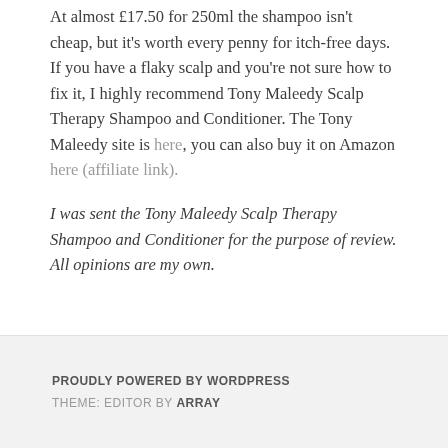At almost £17.50 for 250ml the shampoo isn't cheap, but it's worth every penny for itch-free days. If you have a flaky scalp and you're not sure how to fix it, I highly recommend Tony Maleedy Scalp Therapy Shampoo and Conditioner. The Tony Maleedy site is here, you can also buy it on Amazon here (affiliate link).
I was sent the Tony Maleedy Scalp Therapy Shampoo and Conditioner for the purpose of review. All opinions are my own.
PROUDLY POWERED BY WORDPRESS
THEME: EDITOR BY ARRAY